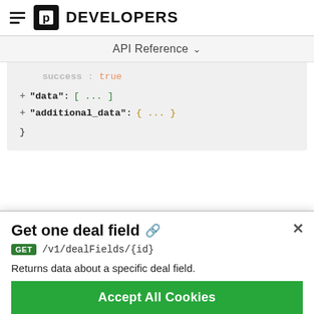DEVELOPERS
API Reference
"success": true,
+ "data": [ ... ]
+ "additional_data": { ... }
}
Get one deal field
GET /v1/dealFields/{id}
Returns data about a specific deal field.
Accept All Cookies